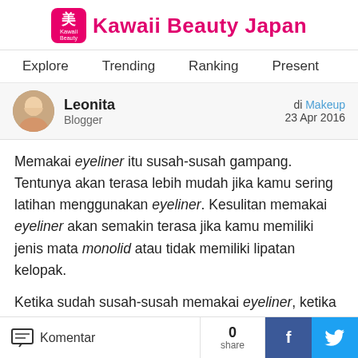Kawaii Beauty Japan
Explore  Trending  Ranking  Present
Leonita
Blogger
di Makeup
23 Apr 2016
Memakai eyeliner itu susah-susah gampang. Tentunya akan terasa lebih mudah jika kamu sering latihan menggunakan eyeliner. Kesulitan memakai eyeliner akan semakin terasa jika kamu memiliki jenis mata monolid atau tidak memiliki lipatan kelopak.
Ketika sudah susah-susah memakai eyeliner, ketika kamu membuka matamu hanya bagian ujungnya yang terlihat. Belum lagi ketika kita membentuk ujungnya naik ke atas namun ketika mata menatap kedepan kaca, bagian ujung eyeliner tidak senaik yang kita
Komentar  0 share